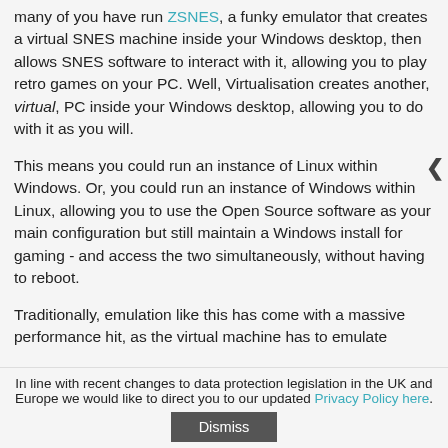many of you have run ZSNES, a funky emulator that creates a virtual SNES machine inside your Windows desktop, then allows SNES software to interact with it, allowing you to play retro games on your PC. Well, Virtualisation creates another, virtual, PC inside your Windows desktop, allowing you to do with it as you will.
This means you could run an instance of Linux within Windows. Or, you could run an instance of Windows within Linux, allowing you to use the Open Source software as your main configuration but still maintain a Windows install for gaming - and access the two simultaneously, without having to reboot.
Traditionally, emulation like this has come with a massive performance hit, as the virtual machine has to emulate
In line with recent changes to data protection legislation in the UK and Europe we would like to direct you to our updated Privacy Policy here.
Dismiss